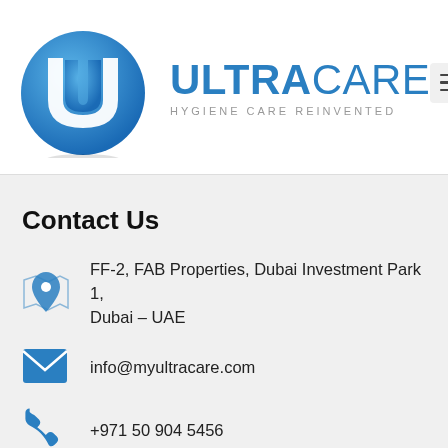[Figure (logo): UltraCare logo: blue gradient circle with white interlocked U letters, beside text 'ULTRACARE' in blue and tagline 'HYGIENE CARE REINVENTED']
Contact Us
FF-2, FAB Properties, Dubai Investment Park 1, Dubai – UAE
info@myultracare.com
+971 50 904 5456